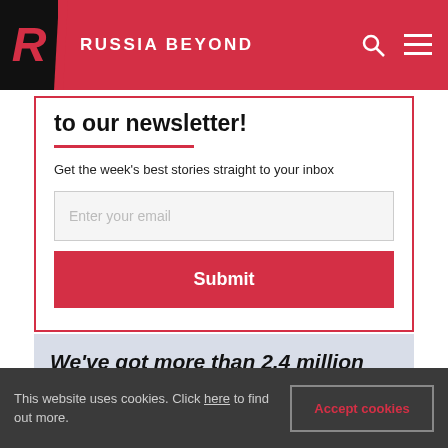RUSSIA BEYOND
to our newsletter!
Get the week's best stories straight to your inbox
Enter your email
Submit
We've got more than 2,4 million followers on Facebook. Join
This website uses cookies. Click here to find out more.
Accept cookies